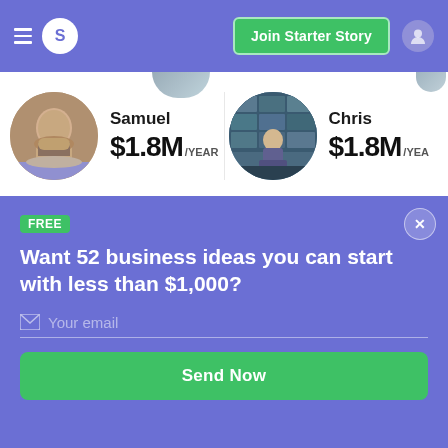[Figure (screenshot): Navigation bar of Starter Story website with hamburger menu, S logo badge, Join Starter Story button, and user icon]
[Figure (screenshot): Profile card for Samuel showing $1.8M/YEAR revenue with circular avatar photo]
[Figure (screenshot): Profile card for Chris showing $1.8M/YEAR revenue with circular avatar photo of person sitting in front of boxes]
[Figure (screenshot): Profile card for Sunil partially visible with circular avatar photo]
[Figure (screenshot): Modal popup with FREE badge, headline about 52 business ideas, email input field, and Send Now button]